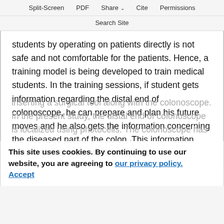Split-Screen  PDF  Share  Cite  Permissions
Search Site
students by operating on patients directly is not safe and not comfortable for the patients. Hence, a training model is being developed to train medical students. In the training sessions, if student gets information regarding the distal end of colonoscope, he can prepare and plan his future moves and he also gets the information concerning the diseased part of the colon. This information also helps the student if he requires
inserting a surgical tool along with the colonoscope. In the present study, the distal end of colonoscope is localized using photocells. The colonoscope has a light source for the camera at
This site uses cookies. By continuing to use our website, you are agreeing to our privacy policy. Accept